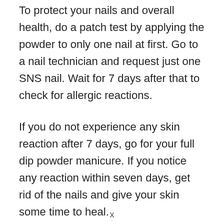To protect your nails and overall health, do a patch test by applying the powder to only one nail at first. Go to a nail technician and request just one SNS nail. Wait for 7 days after that to check for allergic reactions.
If you do not experience any skin reaction after 7 days, go for your full dip powder manicure. If you notice any reaction within seven days, get rid of the nails and give your skin some time to heal.
x